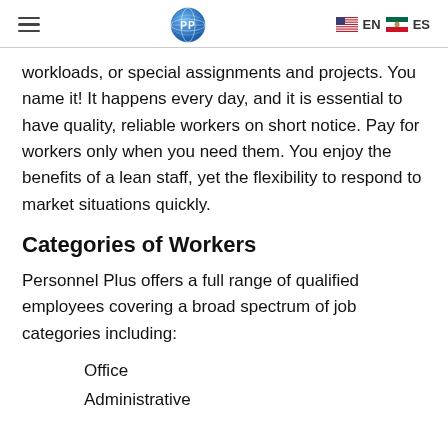EN ES
workloads, or special assignments and projects. You name it! It happens every day, and it is essential to have quality, reliable workers on short notice. Pay for workers only when you need them. You enjoy the benefits of a lean staff, yet the flexibility to respond to market situations quickly.
Categories of Workers
Personnel Plus offers a full range of qualified employees covering a broad spectrum of job categories including:
Office
Administrative